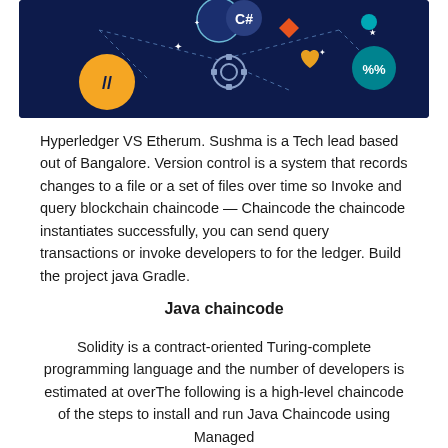[Figure (illustration): Dark navy blue banner with blockchain/tech themed icons including gears, code symbols, percent signs, orange diamond, yellow circle with slashes, teal circle, heart shape, and dotted connecting lines on dark blue background.]
Hyperledger VS Etherum. Sushma is a Tech lead based out of Bangalore. Version control is a system that records changes to a file or a set of files over time so Invoke and query blockchain chaincode — Chaincode the chaincode instantiates successfully, you can send query transactions or invoke developers to for the ledger. Build the project java Gradle.
Java chaincode
Solidity is a contract-oriented Turing-complete programming language and the number of developers is estimated at overThe following is a high-level chaincode of the steps to install and run Java Chaincode using Managed